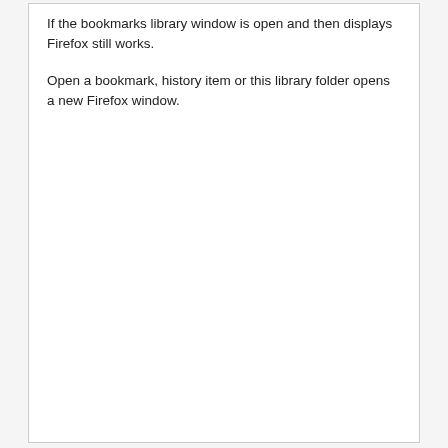If the bookmarks library window is open and then displays Firefox still works.
Open a bookmark, history item or this library folder opens a new Firefox window.